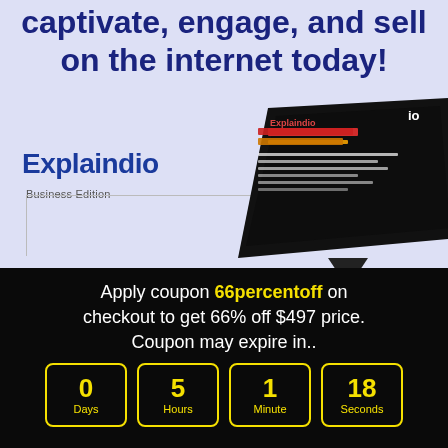captivate, engage, and sell on the internet today!
Explaindio
Business Edition
[Figure (screenshot): A dark monitor/laptop screen showing the Explaindio software interface with colorful text overlay]
Apply coupon 66percentoff on checkout to get 66% off $497 price. Coupon may expire in..
0 Days
5 Hours
1 Minute
18 Seconds